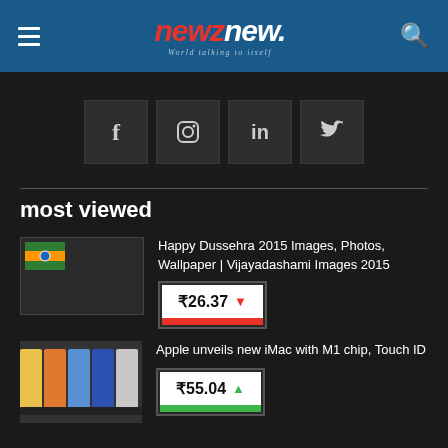newznew. – World talking to itself
[Figure (logo): newznew logo with red 'newz' and white 'new.' text, tagline 'World talking to itself']
[Figure (infographic): Social media icons row: Facebook (f), Instagram, LinkedIn (in), Twitter (bird)]
most viewed
[Figure (photo): Thumbnail image placeholder for Dussehra article]
Happy Dussehra 2015 Images, Photos, Wallpaper | Vijayadashami Images 2015
[Figure (infographic): Price badge showing ₹26.37 with red down arrow]
[Figure (photo): Thumbnail image of colorful iMac computers]
Apple unveils new iMac with M1 chip, Touch ID
[Figure (infographic): Price badge showing ₹55.04 with green up arrow]